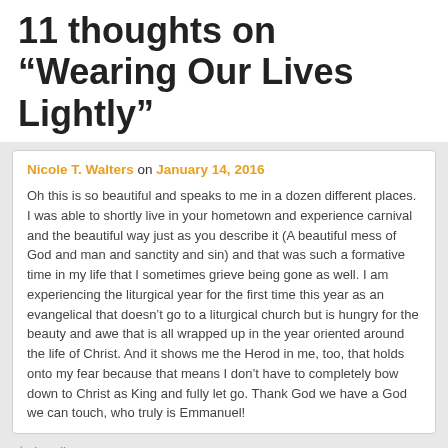11 thoughts on “Wearing Our Lives Lightly”
Nicole T. Walters on January 14, 2016
Oh this is so beautiful and speaks to me in a dozen different places. I was able to shortly live in your hometown and experience carnival and the beautiful way just as you describe it (A beautiful mess of God and man and sanctity and sin) and that was such a formative time in my life that I sometimes grieve being gone as well. I am experiencing the liturgical year for the first time this year as an evangelical that doesn’t go to a liturgical church but is hungry for the beauty and awe that is all wrapped up in the year oriented around the life of Christ. And it shows me the Herod in me, too, that holds onto my fear because that means I don’t have to completely bow down to Christ as King and fully let go. Thank God we have a God we can touch, who truly is Emmanuel!
Loading...